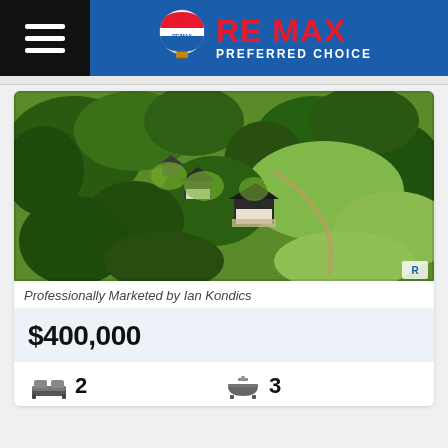RE MAX PREFERRED CHOICE
[Figure (photo): Aerial drone photograph of a rural property with two houses surrounded by dense green forest and open green fields.]
Professionally Marketed by Ian Kondics
$400,000
2 bedrooms, 3 bathrooms